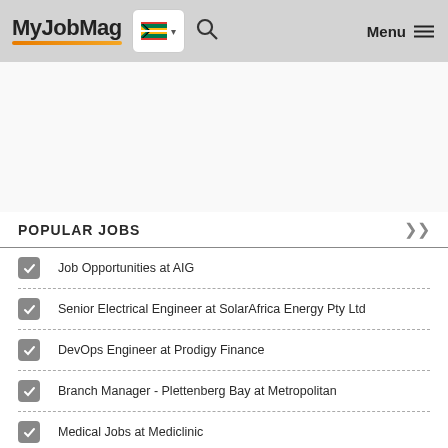MyJobMag — Navigation header with logo, South Africa flag selector, search icon, and Menu
POPULAR JOBS
Job Opportunities at AIG
Senior Electrical Engineer at SolarAfrica Energy Pty Ltd
DevOps Engineer at Prodigy Finance
Branch Manager - Plettenberg Bay at Metropolitan
Medical Jobs at Mediclinic
Head of Change Management at Xcede
General Manager at Radisson Hotel Group